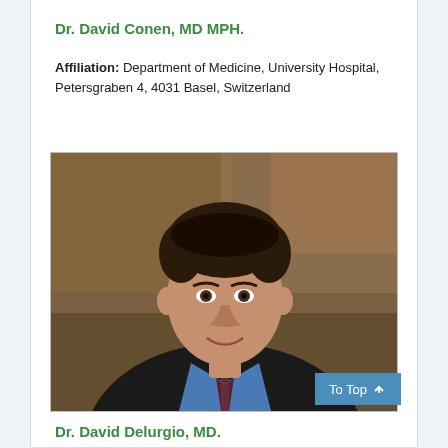Dr. David Conen, MD MPH.
Affiliation: Department of Medicine, University Hospital, Petersgraben 4, 4031 Basel, Switzerland
[Figure (photo): Professional headshot of Dr. David Conen, a man in a dark suit jacket and blue shirt with a dark tie, photographed against a mottled brown/bronze background.]
Dr. David Delurgio, MD.